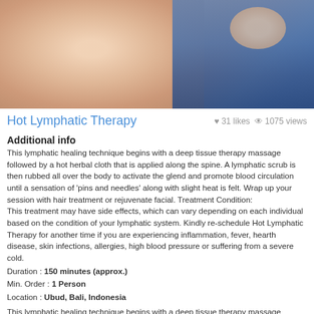[Figure (photo): Massage therapy photo showing a person receiving a back massage, with skin tones and a blue floral garment visible]
Hot Lymphatic Therapy   ♥ 31 likes   👁 1075 views
Additional info
This lymphatic healing technique begins with a deep tissue therapy massage followed by a hot herbal cloth that is applied along the spine. A lymphatic scrub is then rubbed all over the body to activate the glend and promote blood circulation until a sensation of 'pins and needles' along with slight heat is felt. Wrap up your session with hair treatment or rejuvenate facial. Treatment Condition:
This treatment may have side effects, which can vary depending on each individual based on the condition of your lymphatic system. Kindly re-schedule Hot Lymphatic Therapy for another time if you are experiencing inflammation, fever, hearth disease, skin infections, allergies, high blood pressure or suffering from a severe cold.
Duration : 150 minutes (approx.)
Min. Order : 1 Person
Location : Ubud, Bali, Indonesia
This lymphatic healing technique begins with a deep tissue therapy massage